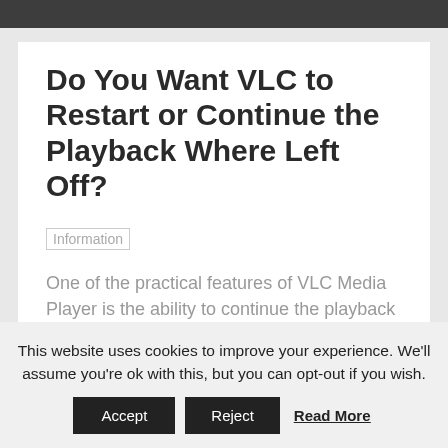Do You Want VLC to Restart or Continue the Playback Where Left Off?
Information
One of the practical features of VLC Media Player is the ability to continue the playback
This website uses cookies to improve your experience. We'll assume you're ok with this, but you can opt-out if you wish.
Accept   Reject   Read More